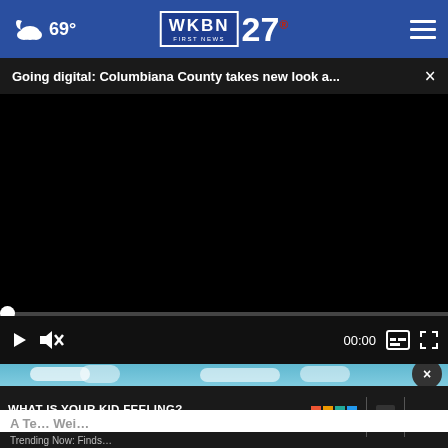69° WKBN FIRST NEWS 27
Going digital: Columbiana County takes new look a...
[Figure (screenshot): Video player with black screen showing 00:00 timestamp, play button, mute button, caption button, and fullscreen button on dark control bar]
[Figure (screenshot): Advertisement banner: 'WHAT IS YOUR KID FEELING? GET SONGS TO SOUND IT OUT.' with Sound It Out and Ad Council / Pivotal logos]
A Te... Wei...
Trending Now: Finds...